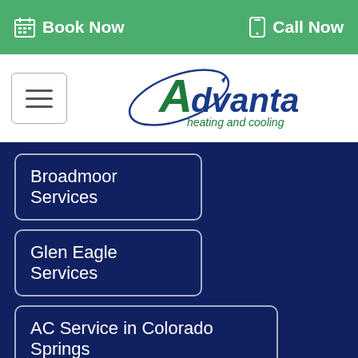Book Now   Call Now
[Figure (logo): Advantage Heating and Cooling logo with blue/green orbit graphic and company name]
Broadmoor Services
Glen Eagle Services
AC Service in Colorado Springs
Find Us Online
Google
BBB
Facebook